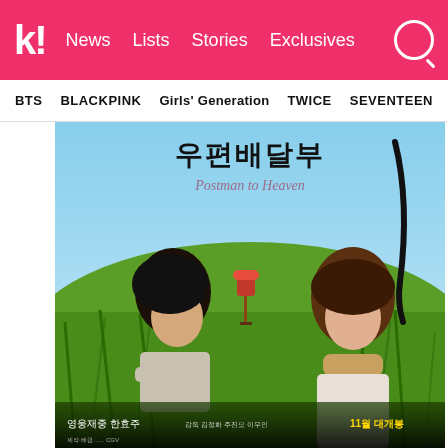k! News Lists Stories Exclusives
BTS BLACKPINK Girls' Generation TWICE SEVENTEEN
[Figure (photo): Movie poster for 'Postman to Heaven' (우편배달부) showing two young people sitting in a green field with a red mailbox in the background. Korean text '우편배달부' and italic subtitle 'Postman to Heaven' visible at top. Korean credits text at the bottom including '영웅재중 한효주' and '11월 대개봉'.]